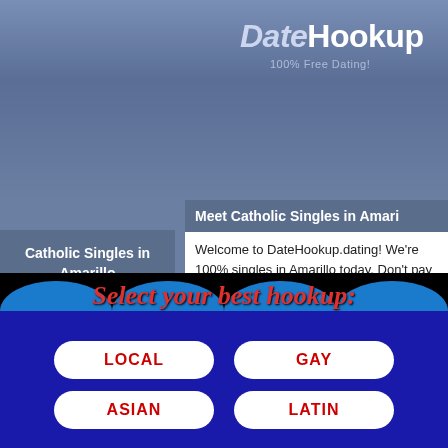DateHookup — 100% Free Dating!
Catholic Singles in Amarillo
Looking to date Catholics in Amarillo? We have plenty that are looking to chat now. Meet Catholics free here, never pay for anything!
Meet Catholic Singles in Amari
Welcome to DateHookup.dating! We're 100% singles in Amarillo today. Don't pay for a Ama. Catholics here for free.
[Figure (photo): Couple photo showing a man kissing a smiling woman on the cheek]
Meet
I'm a
looking fo
Select your best hookup:
LOCAL
GAY
ASIAN
LATIN